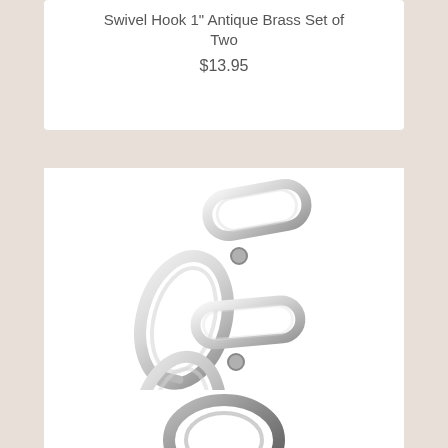Swivel Hook 1" Antique Brass Set of Two
$13.95
[Figure (photo): Two nickel-finished swivel hooks with oval D-ring attachments, set of two, product photo on white background]
Swivel Hook 1" Nickel Set of Two
$13.95
[Figure (photo): Partial view of another swivel hook product at bottom of page]